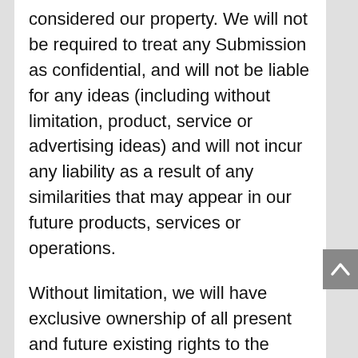considered our property. We will not be required to treat any Submission as confidential, and will not be liable for any ideas (including without limitation, product, service or advertising ideas) and will not incur any liability as a result of any similarities that may appear in our future products, services or operations.
Without limitation, we will have exclusive ownership of all present and future existing rights to the Submission of every kind and nature everywhere. We will be entitled to use the Submission for any commercial or other purpose whatsoever, without compensation to you or any other person sending the Submission. You